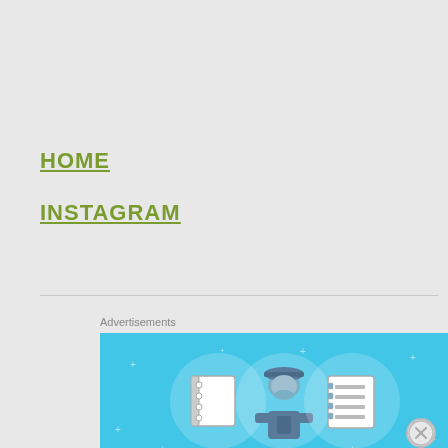HOME
INSTAGRAM
Advertisements
[Figure (illustration): Advertisement banner with light blue background showing three circular icons: a notebook/notepad, a person wearing a hard hat (builder/engineer character), and a checklist/lined notebook. There are small cross/star sparkle decorations scattered around the background.]
Advertisements